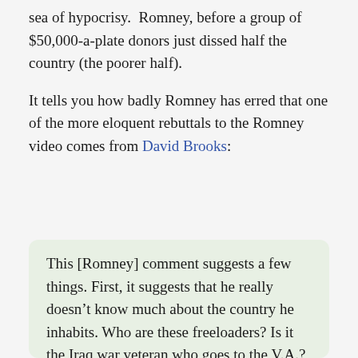sea of hypocrisy. Romney, before a group of $50,000-a-plate donors just dissed half the country (the poorer half).
It tells you how badly Romney has erred that one of the more eloquent rebuttals to the Romney video comes from David Brooks:
This [Romney] comment suggests a few things. First, it suggests that he really doesn't know much about the country he inhabits. Who are these freeloaders? Is it the Iraq war veteran who goes to the V.A.? Is it the student getting a loan